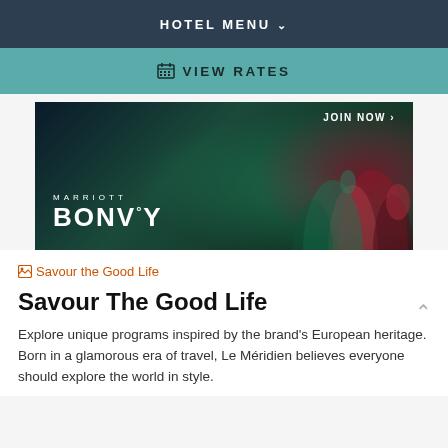HOTEL MENU ∨
⊞ VIEW RATES
[Figure (photo): Marriott Bonvoy banner with underwater coral reef background, showing 'JOIN NOW' text and Marriott Bonvoy logo]
Savour the Good Life
Savour The Good Life
Explore unique programs inspired by the brand's European heritage. Born in a glamorous era of travel, Le Méridien believes everyone should explore the world in style.